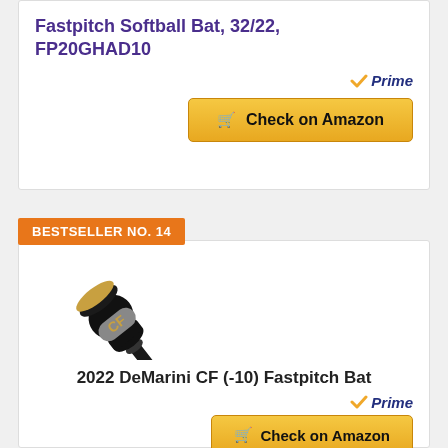Fastpitch Softball Bat, 32/22, FP20GHAD10
[Figure (other): Amazon Prime badge with checkmark and 'Prime' text in blue italic]
[Figure (other): Check on Amazon button with shopping cart icon, gold/yellow background]
BESTSELLER NO. 14
[Figure (photo): 2022 DeMarini CF (-10) Fastpitch Bat shown diagonally, black and gold/silver coloring with CF logo]
2022 DeMarini CF (-10) Fastpitch Bat
[Figure (other): Amazon Prime badge with checkmark and 'Prime' text in blue italic]
[Figure (other): Check on Amazon button with shopping cart icon, gold/yellow background (partially visible)]